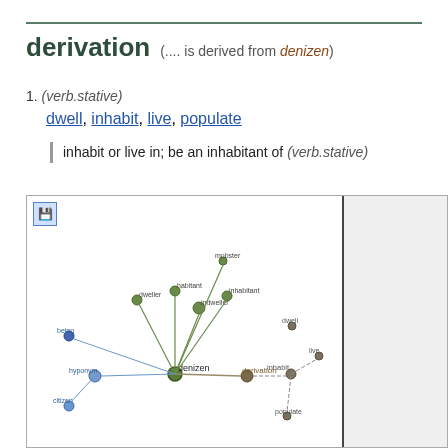derivation (.... is derived from denizen)
1. (verb.stative)
dwell, inhabit, live, populate
inhabit or live in; be an inhabitant of (verb.stative)
[Figure (network-graph): WordNet network graph showing derivation relationships centered on 'denizen' node, with connections to 'citizen', 'being', 'inhabitant', 'dweller', 'habitant', 'indweller', 'mobster', 'inhabitant', 'dwell', 'inhabit', 'live', 'populate' nodes. A 'derivation' node and 'hyponym' node are also shown with various edge types (solid, dashed).]